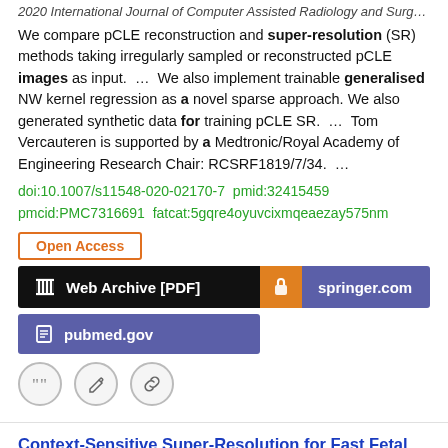2020 International Journal of Computer Assisted Radiology and Surgery
We compare pCLE reconstruction and super-resolution (SR) methods taking irregularly sampled or reconstructed pCLE images as input.  …  We also implement trainable generalised NW kernel regression as a novel sparse approach. We also generated synthetic data for training pCLE SR.  …  Tom Vercauteren is supported by a Medtronic/Royal Academy of Engineering Research Chair: RCSRF1819/7/34.  …
doi:10.1007/s11548-020-02170-7  pmid:32415459
pmmcid:PMC7316691  fatcat:5gqre4oyuvcixmqeaezay575nm
Open Access
Web Archive [PDF]
springer.com
pubmed.gov
Context-Sensitive Super-Resolution for Fast Fetal Magnetic Resonance Imaging [CHAPTER]
Steven McDonagh, Benjamin Hou, Amir Alansary, Ozan Oktay, Konstantinos Kamnitsas, Mary Rutherford, Jo V. Hajnal,